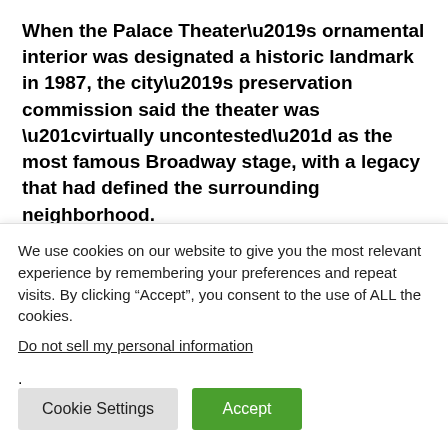When the Palace Theater’s ornamental interior was designated a historic landmark in 1987, the city’s preservation commission said the theater was “virtually uncontested” as the most famous Broadway stage, with a legacy that had defined the surrounding neighborhood.
So it is perhaps fitting that the Palace, with its interior preserved, has been lifted inch by inch to make way for an augmented-reality playground for tourists.
An online rendering of the TSX entrance showed a giant
We use cookies on our website to give you the most relevant experience by remembering your preferences and repeat visits. By clicking “Accept”, you consent to the use of ALL the cookies.
Do not sell my personal information.